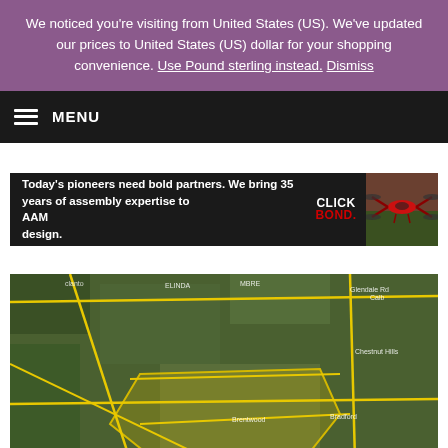We noticed you're visiting from United States (US). We've updated our prices to United States (US) dollar for your shopping convenience. Use Pound sterling instead. Dismiss
MENU
[Figure (other): Click Bond advertisement banner with drone image. Text: 'Today's pioneers need bold partners. We bring 35 years of assembly expertise to AAM design.' with Click Bond logo and red drone photo.]
[Figure (map): Aerial satellite map showing a suburban area with yellow road overlays marking streets and highways. A yellow polygon highlights a specific area. Labels include Chestnut Hills, Brentwood, Bradford.]